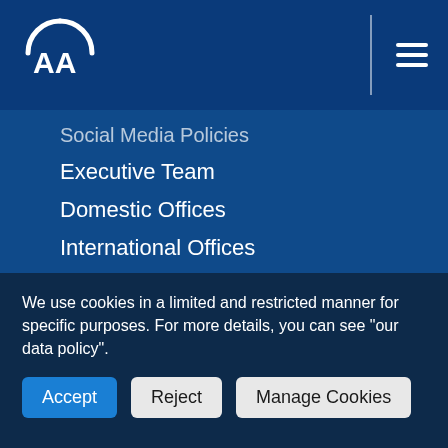[Figure (logo): AA (Anadolu Agency) logo in white on dark blue background, circular arc design with AA letters]
Social Media Policies
Executive Team
Domestic Offices
International Offices
Media Center
Contact
RSS
Subscription Requests
We use cookies in a limited and restricted manner for specific purposes. For more details, you can see "our data policy".
Accept | Reject | Manage Cookies